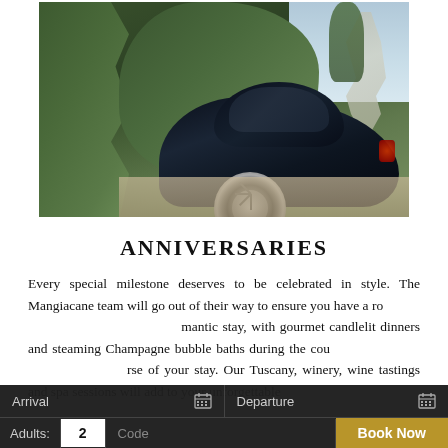[Figure (photo): A dark navy luxury car (rear view) parked on a gravel driveway, surrounded by large sculpted hedges. Trees and sky visible in the background. Appears to be a Bentley or similar luxury automobile.]
ANNIVERSARIES
Every special milestone deserves to be celebrated in style. The Mangiacane team will go out of their way to ensure you have a romantic stay, with gourmet candlelit dinners and steaming Champagne bubble baths during the course of your stay. Our Tuscany, winery, wine tastings and spa sessions will add to your unforgettable
Arrival  |  Departure  |  Adults: 2  |  Code  |  Book Now